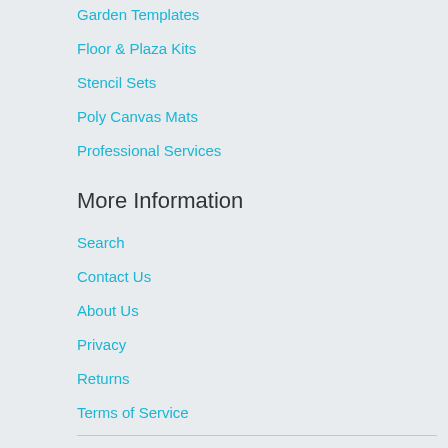Garden Templates
Floor & Plaza Kits
Stencil Sets
Poly Canvas Mats
Professional Services
More Information
Search
Contact Us
About Us
Privacy
Returns
Terms of Service